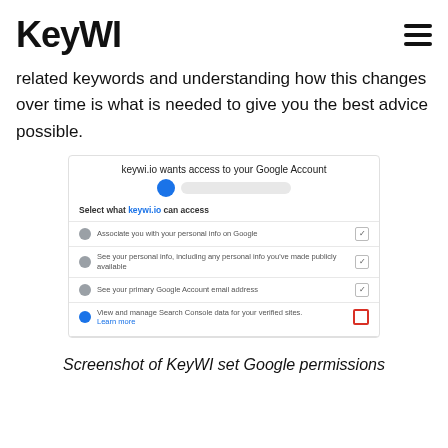KeyWI
related keywords and understanding how this changes over time is what is needed to give you the best advice possible.
[Figure (screenshot): Screenshot of a Google Account permissions dialog for keywi.io, showing options to associate with personal info, see personal info, see primary Google Account email address, and view and manage Search Console data for verified sites (with a highlighted unchecked checkbox).]
Screenshot of KeyWI set Google permissions